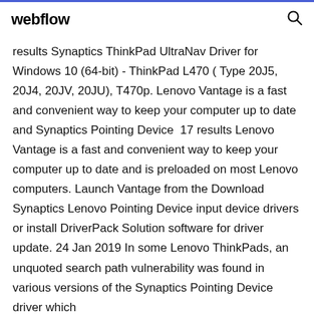webflow
results Synaptics ThinkPad UltraNav Driver for Windows 10 (64-bit) - ThinkPad L470 ( Type 20J5, 20J4, 20JV, 20JU), T470p. Lenovo Vantage is a fast and convenient way to keep your computer up to date and Synaptics Pointing Device  17 results Lenovo Vantage is a fast and convenient way to keep your computer up to date and is preloaded on most Lenovo computers. Launch Vantage from the Download Synaptics Lenovo Pointing Device input device drivers or install DriverPack Solution software for driver update. 24 Jan 2019 In some Lenovo ThinkPads, an unquoted search path vulnerability was found in various versions of the Synaptics Pointing Device driver which